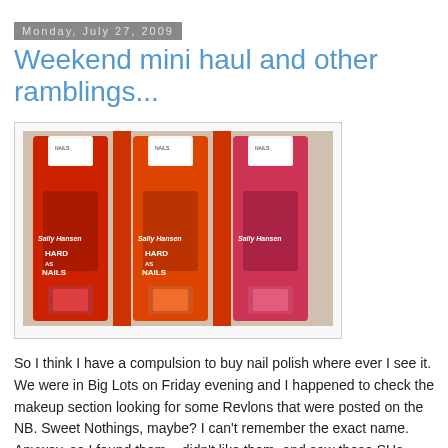Monday, July 27, 2009
Weekend mini haul and other ramblings...
[Figure (photo): Three Sally Hansen Hard as Nails nail polish bottles in red packaging, colors Cardinal, Poppy, and Pink Sapphire, displayed side by side.]
So I think I have a compulsion to buy nail polish where ever I see it. We were in Big Lots on Friday evening and I happened to check the makeup section looking for some Revlons that were posted on the NB. Sweet Nothings, maybe? I can't remember the exact name. Anyway, so I found them... didn't like them, and saw these SHs instead. From L-R, Cardinal, Poppy, and Pink Sapphire.